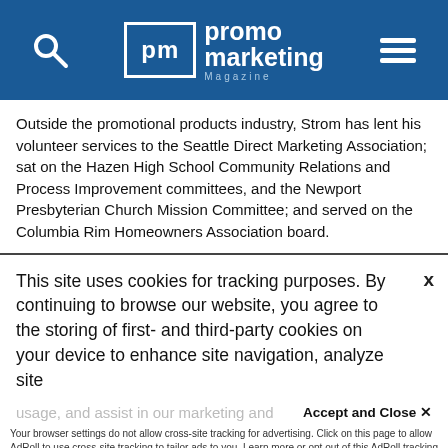promo marketing Magazine
Outside the promotional products industry, Strom has lent his volunteer services to the Seattle Direct Marketing Association; sat on the Hazen High School Community Relations and Process Improvement committees, and the Newport Presbyterian Church Mission Committee; and served on the Columbia Rim Homeowners Association board.
This site uses cookies for tracking purposes. By continuing to browse our website, you agree to the storing of first- and third-party cookies on your device to enhance site navigation, analyze site usage, and assist in our marketing and
Accept and Close ✕
Your browser settings do not allow cross-site tracking for advertising. Click on this page to allow AdRoll to use cross-site tracking to tailor ads to you. Learn more or opt out of this AdRoll tracking by clicking here. This message only appears once.